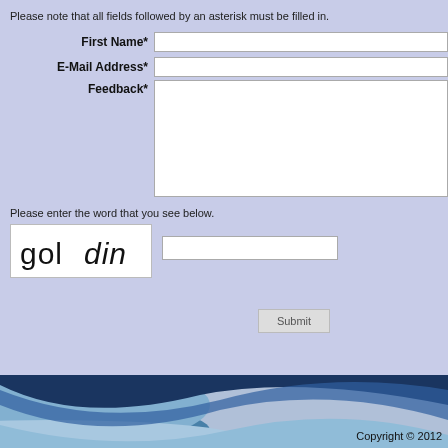Please note that all fields followed by an asterisk must be filled in.
First Name*
E-Mail Address*
Feedback*
Please enter the word that you see below.
[Figure (other): CAPTCHA image showing the word 'goldin' in mixed regular and italic style]
Submit
Copyright © 2012